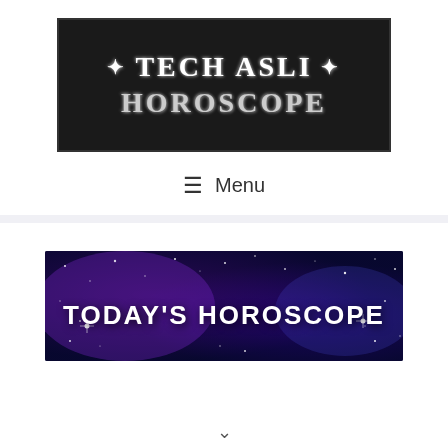[Figure (logo): Tech Asli Horoscope logo: dark/black background with white serif text '+ TECH ASLI +' on first line and 'HOROSCOPE' on second line, with decorative star symbols]
≡  Menu
[Figure (illustration): Banner image with purple/blue galaxy/space background with stars, and white bold text 'TODAY'S HOROSCOPE' in the center]